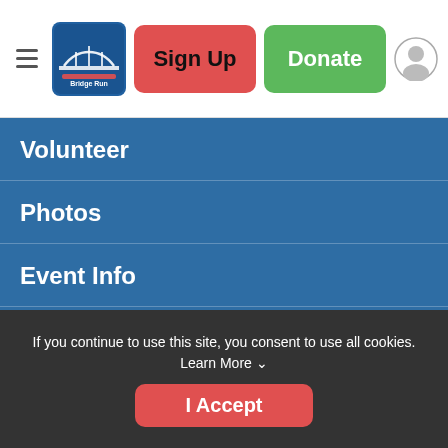[Figure (screenshot): Website header with hamburger menu, Bridge Run logo, Sign Up button (red), Donate button (green), and user profile icon]
Volunteer
Photos
Event Info
Sponsorship & Wellness Partnerships
Results
Donate
Sponsors
If you continue to use this site, you consent to use all cookies. Learn More
I Accept